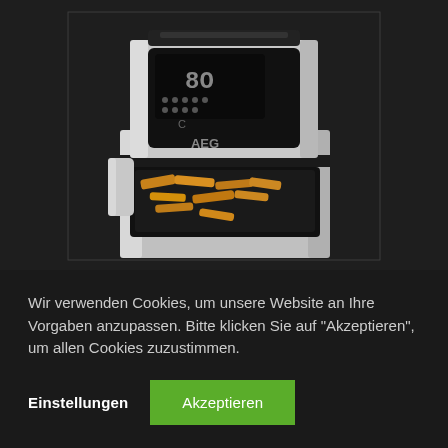[Figure (photo): AEG air fryer appliance in stainless steel finish with black digital control panel on top and open drawer showing french fries inside, photographed on dark background]
Wir verwenden Cookies, um unsere Website an Ihre Vorgaben anzupassen. Bitte klicken Sie auf "Akzeptieren", um allen Cookies zuzustimmen.
Einstellungen
Akzeptieren